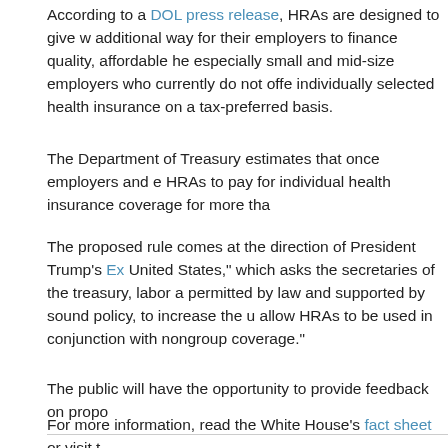According to a DOL press release, HRAs are designed to give w... additional way for their employers to finance quality, affordable he... especially small and mid-size employers who currently do not offe... individually selected health insurance on a tax-preferred basis.
The Department of Treasury estimates that once employers and e... HRAs to pay for individual health insurance coverage for more tha...
The proposed rule comes at the direction of President Trump's Ex... United States," which asks the secretaries of the treasury, labor a... permitted by law and supported by sound policy, to increase the u... allow HRAs to be used in conjunction with nongroup coverage."
The public will have the opportunity to provide feedback on propo...
For more information, read the White House's fact sheet or visit t...